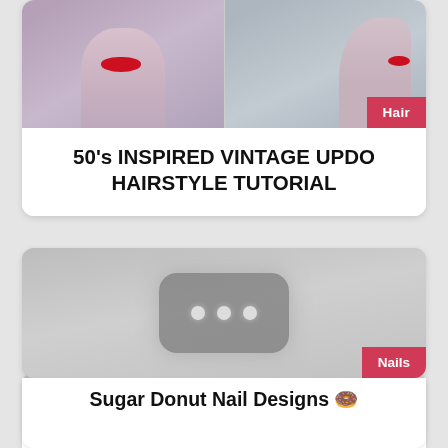[Figure (photo): Two side-by-side photos of women with vintage makeup and red lips. Left photo shows a woman facing forward with red lipstick; right photo shows a woman in profile with a neck tattoo and red lipstick. A pink badge labeled 'Hair' appears in the top right corner.]
50's INSPIRED VINTAGE UPDO HAIRSTYLE TUTORIAL
[Figure (photo): A blurred/loading image placeholder showing a gray rounded rectangle icon with three dots, indicating a video or media thumbnail that has not loaded. A pink badge labeled 'Nails' appears in the bottom right corner.]
Sugar Donut Nail Designs 🍩